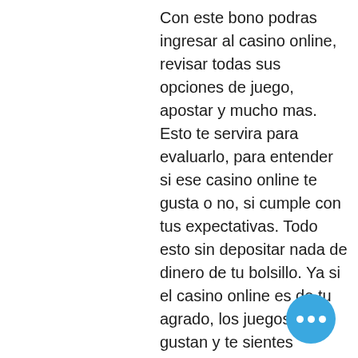Con este bono podras ingresar al casino online, revisar todas sus opciones de juego, apostar y mucho mas. Esto te servira para evaluarlo, para entender si ese casino online te gusta o no, si cumple con tus expectativas. Todo esto sin depositar nada de dinero de tu bolsillo. Ya si el casino online es de tu agrado, los juegos te gustan y te sientes comodo, puedes realizar un deposito y comenzar en el mundo de las apuestas online, casino slot technician interview questions.
Today's winners:
Island 2 - 507.1 usdt
Slots Angels - 212.4 ltc
Romeo and Juliet - 524.3 btc
Crystal Cash - 377.2 btc
Monster Wins - 395.1 btc
Samurai Sushi - 492.7 usdt
Musketeer Slot - 306.4 btc
English Rose - 354.9 eth